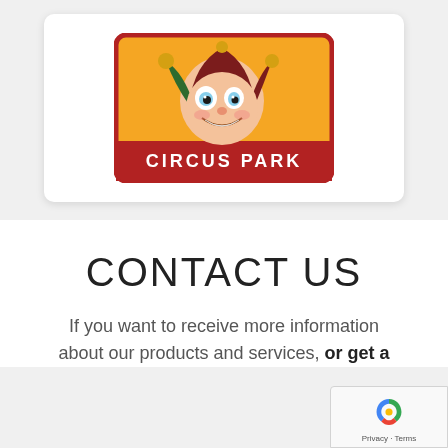[Figure (logo): Circus Park logo: cartoon jester face on yellow/orange rounded rectangle background with red border and white text reading 'CIRCUS PARK']
CONTACT US
If you want to receive more information about our products and services, or get a